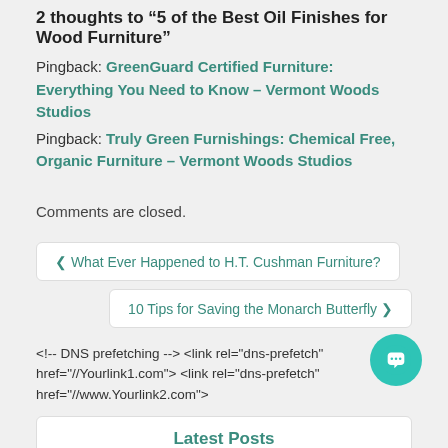2 thoughts to “5 of the Best Oil Finishes for Wood Furniture”
Pingback: GreenGuard Certified Furniture: Everything You Need to Know - Vermont Woods Studios
Pingback: Truly Green Furnishings: Chemical Free, Organic Furniture - Vermont Woods Studios
Comments are closed.
❮ What Ever Happened to H.T. Cushman Furniture?
10 Tips for Saving the Monarch Butterfly ❯
<!-- DNS prefetching --> <link rel="dns-prefetch" href="//Yourlink1.com"> <link rel="dns-prefetch" href="//www.Yourlink2.com">
Latest Posts